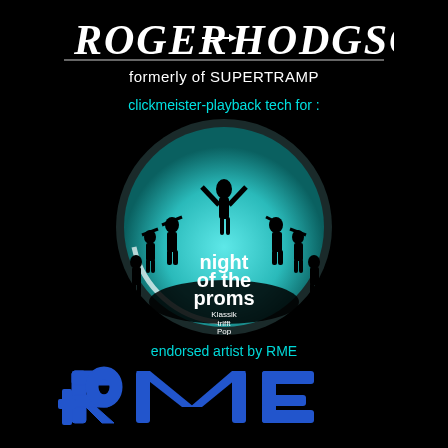[Figure (logo): Roger Hodgson stylized text logo in white/grey on black background]
formerly of SUPERTRAMP
clickmeister-playback tech for :
[Figure (logo): Night of the Proms circular logo - teal/cyan circle with silhouettes of orchestra musicians and conductor, text reading 'night of the proms Klassik trifft Pop']
endorsed artist by RME
[Figure (logo): RME logo in blue stylized text on black background]